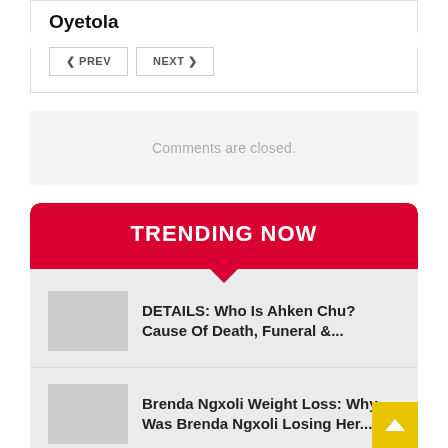Oyetola
PREV  NEXT
Comments are closed.
TRENDING NOW
DETAILS: Who Is Ahken Chu? Cause Of Death, Funeral &...
Brenda Ngxoli Weight Loss: Why Was Brenda Ngxoli Losing Her...